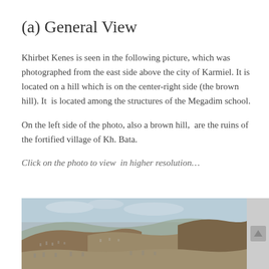(a) General View
Khirbet Kenes is seen in the following picture, which was photographed from the east side above the city of Karmiel. It is located on a hill which is on the center-right side (the brown hill). It  is located among the structures of the Megadim school.
On the left side of the photo, also a brown hill,  are the ruins of the fortified village of Kh. Bata.
Click on the photo to view  in higher resolution…
[Figure (photo): Aerial/elevated photograph of hilly landscape showing Khirbet Kenes area near Karmiel, with brown hills, urban development visible on slopes, and sky with clouds in background. Partially visible, cropped at bottom of page.]